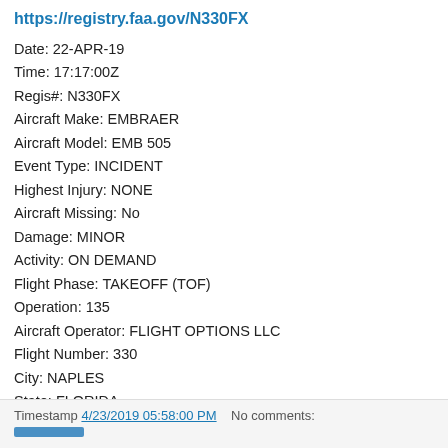https://registry.faa.gov/N330FX
Date: 22-APR-19
Time: 17:17:00Z
Regis#: N330FX
Aircraft Make: EMBRAER
Aircraft Model: EMB 505
Event Type: INCIDENT
Highest Injury: NONE
Aircraft Missing: No
Damage: MINOR
Activity: ON DEMAND
Flight Phase: TAKEOFF (TOF)
Operation: 135
Aircraft Operator: FLIGHT OPTIONS LLC
Flight Number: 330
City: NAPLES
State: FLORIDA
Timestamp 4/23/2019 05:58:00 PM   No comments: